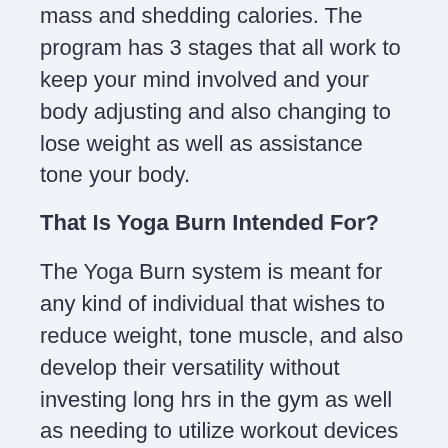mass and shedding calories. The program has 3 stages that all work to keep your mind involved and your body adjusting and also changing to lose weight as well as assistance tone your body.
That Is Yoga Burn Intended For?
The Yoga Burn system is meant for any kind of individual that wishes to reduce weight, tone muscle, and also develop their versatility without investing long hrs in the gym as well as needing to utilize workout devices or weights. Yoga Burn is meant to renew your house workouts and also can quickly suit your daily schedule, so you do not need to stick to any type of stringent routine as well as try to work mosting likely to a fitness center into your day. Instead, choose when you wish to